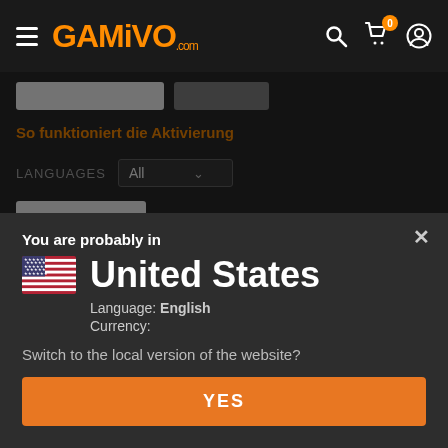[Figure (screenshot): GAMIVO.com website navigation bar with hamburger menu, orange logo, search icon, cart with badge showing 0, and user icon on dark background]
So funktioniert die Aktivierung
LANGUAGES  All
You are probably in
United States
Language: English
Currency:
Switch to the local version of the website?
YES